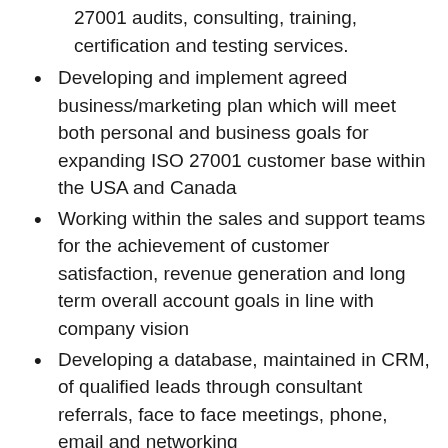27001 audits, consulting, training, certification and testing services.
Developing and implement agreed business/marketing plan which will meet both personal and business goals for expanding ISO 27001 customer base within the USA and Canada
Working within the sales and support teams for the achievement of customer satisfaction, revenue generation and long term overall account goals in line with company vision
Developing a database, maintained in CRM, of qualified leads through consultant referrals, face to face meetings, phone, email and networking
Creating and conduct effective proposal